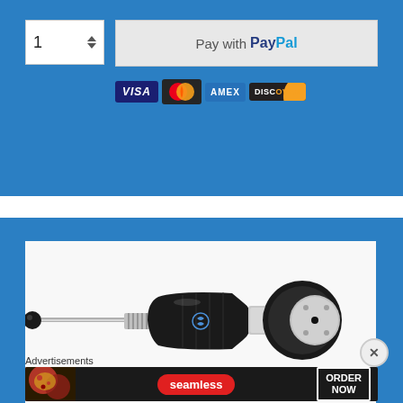[Figure (screenshot): E-commerce checkout UI: quantity selector showing '1' with up/down arrows, 'Pay with PayPal' button, payment card logos (VISA, Mastercard, AMEX, Discover) on blue background]
[Figure (photo): Close-up photo of a handheld tool/device with black handle grip, metallic rod, spring mechanism, and small black ball end, on white background]
Advertisements
[Figure (screenshot): Seamless food delivery advertisement banner with pizza image, seamless logo badge, and ORDER NOW button]